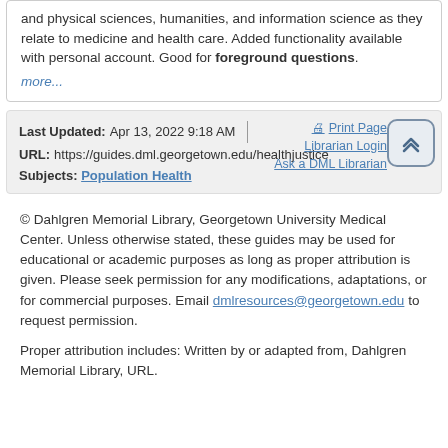and physical sciences, humanities, and information science as they relate to medicine and health care. Added functionality available with personal account. Good for foreground questions.
more...
Last Updated: Apr 13, 2022 9:18 AM
URL: https://guides.dml.georgetown.edu/healthjustice
Subjects: Population Health
Print Page
Librarian Login
Ask a DML Librarian
© Dahlgren Memorial Library, Georgetown University Medical Center. Unless otherwise stated, these guides may be used for educational or academic purposes as long as proper attribution is given. Please seek permission for any modifications, adaptations, or for commercial purposes. Email dmlresources@georgetown.edu to request permission.
Proper attribution includes: Written by or adapted from, Dahlgren Memorial Library, URL.